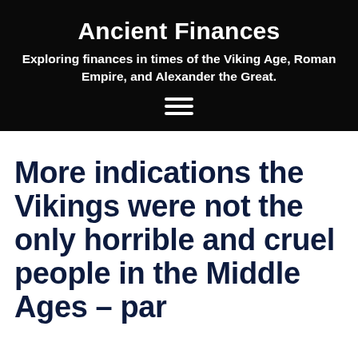Ancient Finances
Exploring finances in times of the Viking Age, Roman Empire, and Alexander the Great.
[Figure (other): Hamburger menu icon — three horizontal white lines on black background]
More indications the Vikings were not the only horrible and cruel people in the Middle Ages – par